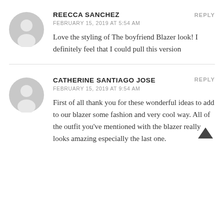REECCA SANCHEZ
FEBRUARY 15, 2019 AT 5:54 AM
REPLY
Love the styling of The boyfriend Blazer look! I definitely feel that I could pull this version
CATHERINE SANTIAGO JOSE
FEBRUARY 15, 2019 AT 9:54 AM
REPLY
First of all thank you for these wonderful ideas to add to our blazer some fashion and very cool way. All of the outfit you’ve mentioned with the blazer really looks amazing especially the last one.